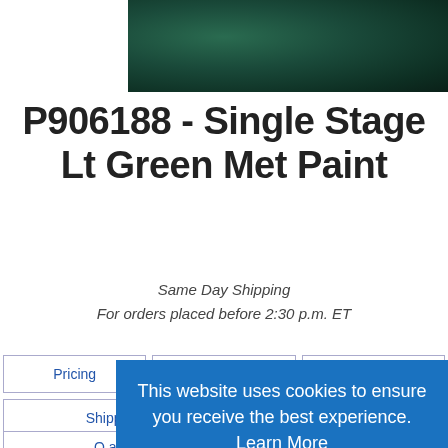[Figure (photo): Dark green metallic paint swatch/texture, deep teal/forest green color]
P906188 - Single Stage Lt Green Met Paint
Same Day Shipping
For orders placed before 2:30 p.m. ET
Pricing | Details | Data Sheets
Shipping
Q and
This website uses cookies to ensure you receive the best experience. Learn More
ACCEPT